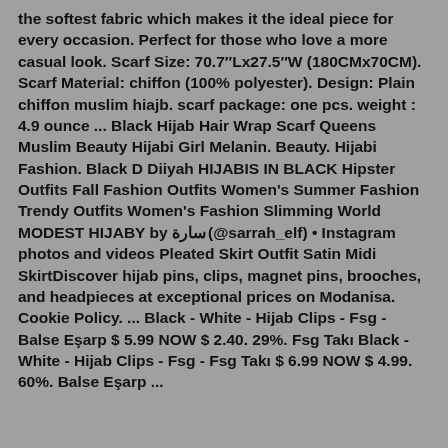the softest fabric which makes it the ideal piece for every occasion. Perfect for those who love a more casual look. Scarf Size: 70.7″Lx27.5″W (180CMx70CM). Scarf Material: chiffon (100% polyester). Design: Plain chiffon muslim hiajb. scarf package: one pcs. weight : 4.9 ounce ... Black Hijab Hair Wrap Scarf Queens Muslim Beauty Hijabi Girl Melanin. Beauty. Hijabi Fashion. Black D Diiyah HIJABIS IN BLACK Hipster Outfits Fall Fashion Outfits Women's Summer Fashion Trendy Outfits Women's Fashion Slimming World MODEST HIJABY by سارة (@sarrah_elf) • Instagram photos and videos Pleated Skirt Outfit Satin Midi SkirtDiscover hijab pins, clips, magnet pins, brooches, and headpieces at exceptional prices on Modanisa. Cookie Policy. ... Black - White - Hijab Clips - Fsg - Balse Eşarp $ 5.99 NOW $ 2.40. 29%. Fsg Takı Black - White - Hijab Clips - Fsg - Fsg Takı $ 6.99 NOW $ 4.99. 60%. Balse Eşarp ...